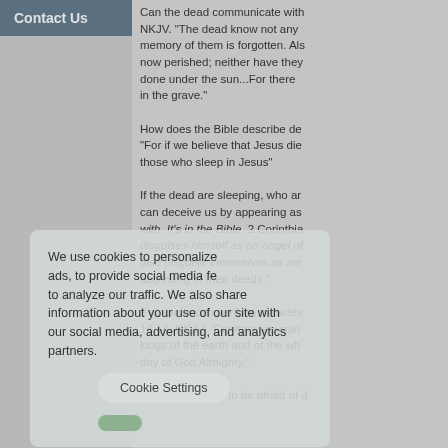Contact Us
Can the dead communicate with... NKJV. "The dead know not any... memory of them is forgotten. Also now perished; neither have they done under the sun...For there in the grave."
How does the Bible describe de... "For if we believe that Jesus die... those who sleep in Jesus"
If the dead are sleeping, who a... can deceive us by appearing as with. It's in the Bible, 2 Corinthia... disguises himself as an angel of also disguise themselves as ser... according to their deeds."
Evil spirits can perform miracles 16:14, NKJV. "For they are spiri... kings of the earth and of the wh... day of God Almighty."
We do not have to be afraid of d...
We use cookies to personalize... ads, to provide social media fe... to analyze our traffic. We also shares information about your use of our site with our social media, advertising, and analytics partners.